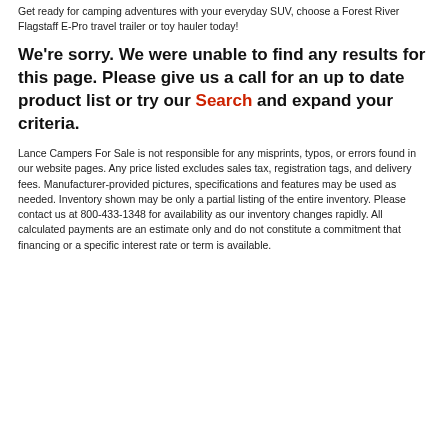Get ready for camping adventures with your everyday SUV, choose a Forest River Flagstaff E-Pro travel trailer or toy hauler today!
We're sorry. We were unable to find any results for this page. Please give us a call for an up to date product list or try our Search and expand your criteria.
Lance Campers For Sale is not responsible for any misprints, typos, or errors found in our website pages. Any price listed excludes sales tax, registration tags, and delivery fees. Manufacturer-provided pictures, specifications and features may be used as needed. Inventory shown may be only a partial listing of the entire inventory. Please contact us at 800-433-1348 for availability as our inventory changes rapidly. All calculated payments are an estimate only and do not constitute a commitment that financing or a specific interest rate or term is available.